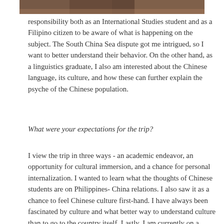[Figure (photo): Partial photo of a person, cropped at top of page]
responsibility both as an International Studies student and as a Filipino citizen to be aware of what is happening on the subject. The South China Sea dispute got me intrigued, so I want to better understand their behavior. On the other hand, as a linguistics graduate, I also am interested about the Chinese language, its culture, and how these can further explain the psyche of the Chinese population.
What were your expectations for the trip?
I view the trip in three ways - an academic endeavor, an opportunity for cultural immersion, and a chance for personal internalization. I wanted to learn what the thoughts of Chinese students are on Philippines- China relations. I also saw it as a chance to feel Chinese culture first-hand. I have always been fascinated by culture and what better way to understand culture than to go to the country itself. Lastly, I am currently on a personal journey as a scholar to find my field of interest. I was